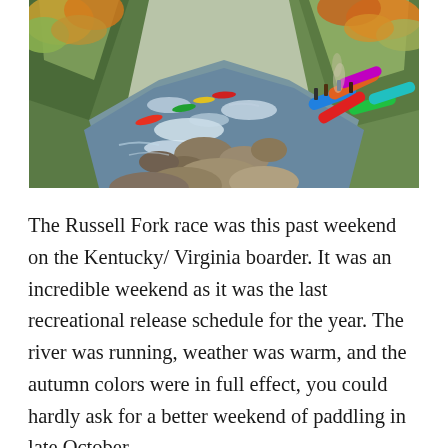[Figure (photo): Aerial/wide view of a whitewater river race at Russell Fork on the Kentucky/Virginia border. Colorful kayaks and canoes line rocky shores on the right side, with paddlers on the rapid river. Autumn foliage in yellows, oranges, and greens lines the rocky gorge walls.]
The Russell Fork race was this past weekend on the Kentucky/ Virginia boarder. It was an incredible weekend as it was the last recreational release schedule for the year. The river was running, weather was warm, and the autumn colors were in full effect, you could hardly ask for a better weekend of paddling in late October.